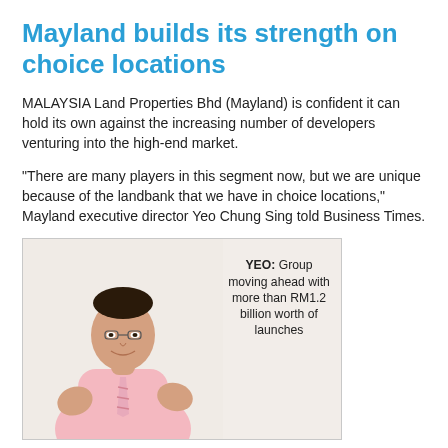Mayland builds its strength on choice locations
MALAYSIA Land Properties Bhd (Mayland) is confident it can hold its own against the increasing number of developers venturing into the high-end market.
"There are many players in this segment now, but we are unique because of the landbank that we have in choice locations," Mayland executive director Yeo Chung Sing told Business Times.
[Figure (photo): Photo of Mayland executive director Yeo Chung Sing, a middle-aged Asian man in a pink shirt and striped tie, gesturing with his hands. Caption reads: YEO: Group moving ahead with more than RM1.2 billion worth of launches]